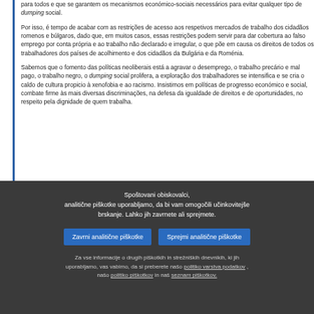para todos e que se garantem os mecanismos económico-sociais necessários para evitar qualquer tipo de dumping social.
Por isso, é tempo de acabar com as restrições de acesso aos respetivos mercados de trabalho dos cidadãos romenos e búlgaros, dado que, em muitos casos, essas restrições podem servir para dar cobertura ao falso emprego por conta própria e ao trabalho não declarado e irregular, o que põe em causa os direitos de todos os trabalhadores dos países de acolhimento e dos cidadãos da Bulgária e da Roménia.
Sabemos que o fomento das políticas neoliberais está a agravar o desemprego, o trabalho precário e mal pago, o trabalho negro, o dumping social prolifera, a exploração dos trabalhadores se intensifica e se cria o caldo de cultura propicio à xenofobia e ao racismo. Insistimos em políticas de progresso económico e social, combate firme às mais diversas discriminações, na defesa da igualdade de direitos e de oportunidades, no respeito pela dignidade de quem trabalha.
Spoštovani obiskovalci, analitične piškotke uporabljamo, da bi vam omogočili učinkovitejše brskanje. Lahko jih zavrnete ali sprejmete.
Zavrni analitične piškotke
Sprejmi analitične piškotke
Za vse informacije o drugih piškotkih in strežniških dnevnikih, ki jih uporabljamo, vas vabimo, da si preberete našo politiko varstva podatkov , našo politiko piškotkov in naš seznam piškotkov.